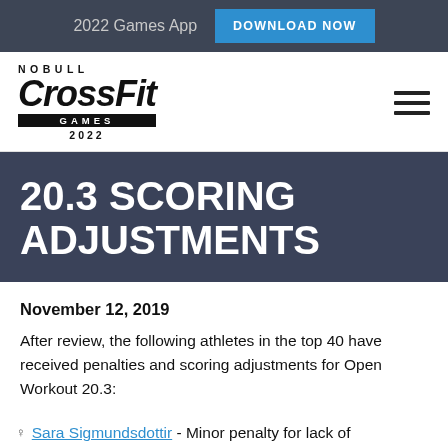2022 Games App  DOWNLOAD NOW
[Figure (logo): NOBULL CrossFit Games 2022 logo with hamburger menu icon]
20.3 SCORING ADJUSTMENTS
November 12, 2019
After review, the following athletes in the top 40 have received penalties and scoring adjustments for Open Workout 20.3:
♀ Sara Sigmundsdottir - Minor penalty for lack of